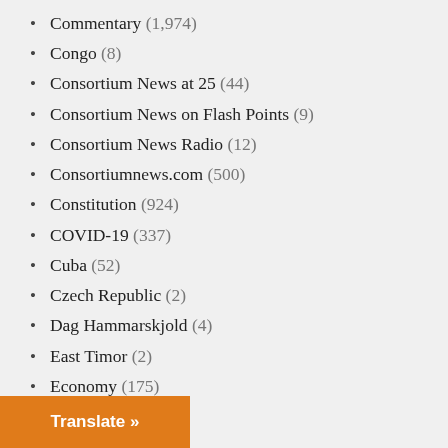Commentary (1,974)
Congo (8)
Consortium News at 25 (44)
Consortium News on Flash Points (9)
Consortium News Radio (12)
Consortiumnews.com (500)
Constitution (924)
COVID-19 (337)
Cuba (52)
Czech Republic (2)
Dag Hammarskjold (4)
East Timor (2)
Economy (175)
Ecuador (67)
Editorial (1)
Egypt (36)
Election 2016 (8)
Election 2020 (83)
(395)